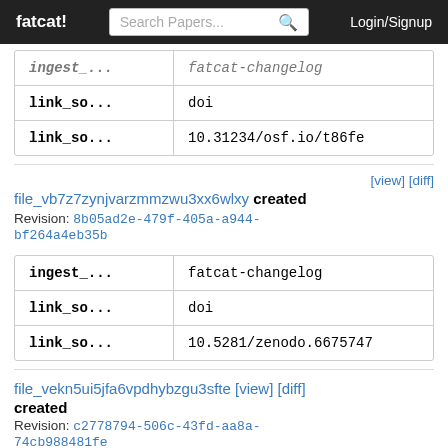fatcat! | Search Papers... | Login/Signup
| ingest_... | fatcat-changelog |
| link_so... | doi |
| link_so... | 10.31234/osf.io/t86fe |
[view] [diff] file_vb7z7zynjvarzmmzwu3xx6wlxy created
Revision: 8b05ad2e-479f-405a-a944-bf264a4eb35b
| ingest_... | fatcat-changelog |
| link_so... | doi |
| link_so... | 10.5281/zenodo.6675747 |
file_vekn5ui5jfa6vpdhybzgu3sfte [view] [diff] created
Revision: c2778794-506c-43fd-aa8a-74cb988481fe